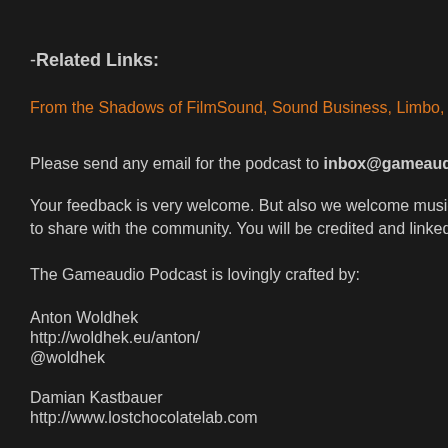-Related Links:
From the Shadows of FilmSound, Sound Business, Limbo, Audio Tu
Please send any email for the podcast to inbox@gameaudiopodca
Your feedback is very welcome. But also we welcome music, sound to share with the community. You will be credited and linked on the s
The Gameaudio Podcast is lovingly crafted by:
Anton Woldhek
http://woldhek.eu/anton/
@woldhek
Damian Kastbauer
http://www.lostchocolatelab.com